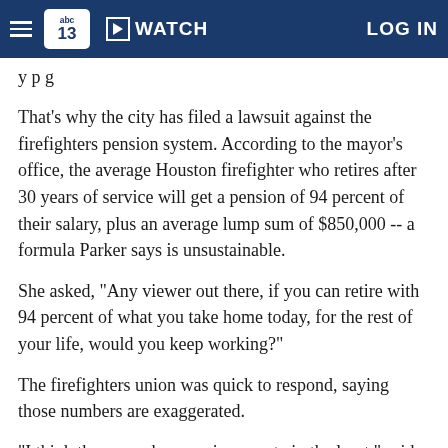abc13  WATCH  LOG IN
y p g
That's why the city has filed a lawsuit against the firefighters pension system. According to the mayor's office, the average Houston firefighter who retires after 30 years of service will get a pension of 94 percent of their salary, plus an average lump sum of $850,000 -- a formula Parker says is unsustainable.
She asked, "Any viewer out there, if you can retire with 94 percent of what you take home today, for the rest of your life, would you keep working?"
The firefighters union was quick to respond, saying those numbers are exaggerated.
"I think those numbers are inaccurate in the least," said